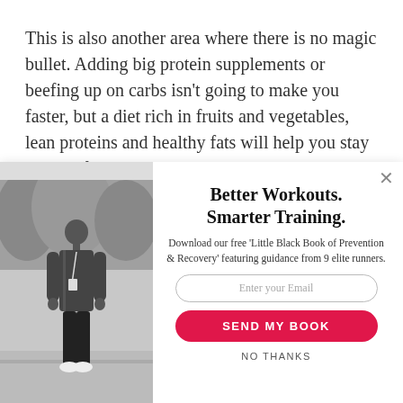This is also another area where there is no magic bullet. Adding big protein supplements or beefing up on carbs isn't going to make you faster, but a diet rich in fruits and vegetables, lean proteins and healthy fats will help you stay healthy for the training
[Figure (photo): Black and white photo of a runner/athlete standing outdoors, wearing athletic gear with a lanyard/bib]
Better Workouts. Smarter Training.
Download our free 'Little Black Book of Prevention & Recovery' featuring guidance from 9 elite runners.
Enter your Email
SEND MY BOOK
NO THANKS